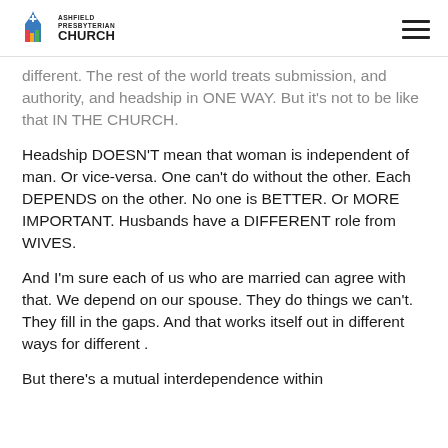ASHFIELD PRESBYTERIAN CHURCH
different. The rest of the world treats submission, and authority, and headship in ONE WAY. But it’s not to be like that IN THE CHURCH.
Headship DOESN’T mean that woman is independent of man. Or vice-versa. One can’t do without the other. Each DEPENDS on the other. No one is BETTER. Or MORE IMPORTANT. Husbands have a DIFFERENT role from WIVES.
And I’m sure each of us who are married can agree with that. We depend on our spouse. They do things we can’t. They fill in the gaps. And that works itself out in different ways for different .
But there’s a mutual interdependence within